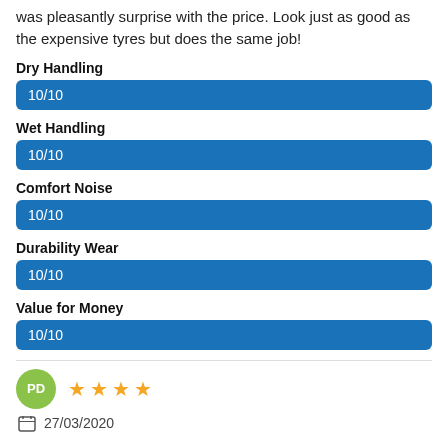was pleasantly surprise with the price. Look just as good as the expensive tyres but does the same job!
Dry Handling
10/10
Wet Handling
10/10
Comfort Noise
10/10
Durability Wear
10/10
Value for Money
10/10
PD
★ ★ ★ ★
27/03/2020